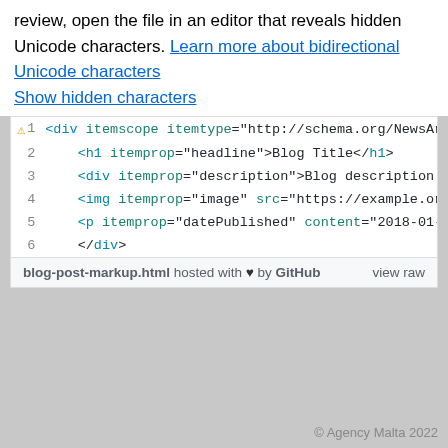review, open the file in an editor that reveals hidden Unicode characters. Learn more about bidirectional Unicode characters
Show hidden characters
[Figure (screenshot): Code snippet showing HTML markup with schema.org microdata for a NewsArticle, including div, h1, div, img, and p elements with itemscope/itemprop attributes. Line 1 has a warning icon. Footer shows blog-post-markup.html hosted with heart by GitHub and view raw link.]
© Agency Malta 2022